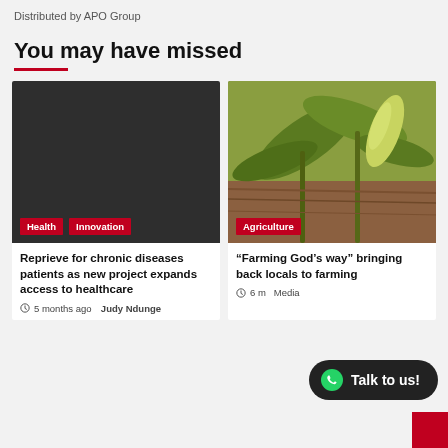Distributed by APO Group
You may have missed
[Figure (photo): Dark/black image placeholder for health article]
Health  Innovation
Reprieve for chronic diseases patients as new project expands access to healthcare
5 months ago  Judy Ndunge
[Figure (photo): Photo of maize/corn plants growing in a field]
Agriculture
“Farming God’s way” bringing back locals to farming
6 m  Media
[Figure (other): WhatsApp Talk to us! chat button overlay]